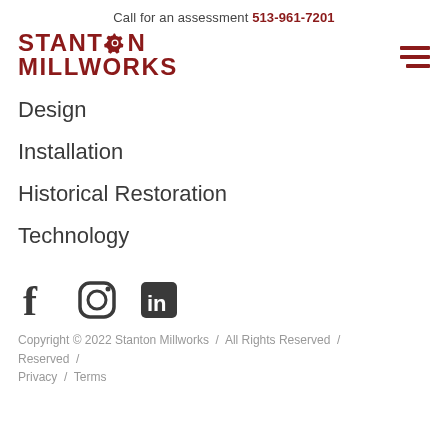Call for an assessment 513-961-7201
[Figure (logo): Stanton Millworks logo with gear icon, red serif bold text]
Design
Installation
Historical Restoration
Technology
[Figure (illustration): Social media icons: Facebook, Instagram, LinkedIn]
Copyright © 2022 Stanton Millworks  /  All Rights Reserved  /  Privacy  /  Terms